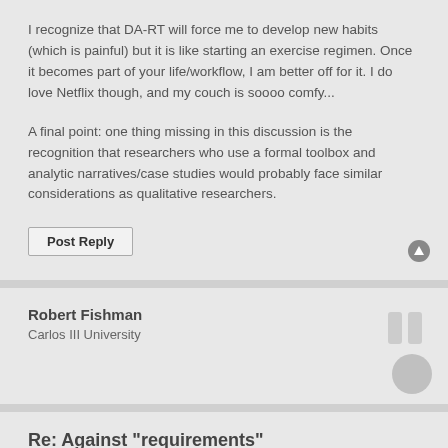I recognize that DA-RT will force me to develop new habits (which is painful) but it is like starting an exercise regimen. Once it becomes part of your life/workflow, I am better off for it. I do love Netflix though, and my couch is soooo comfy...
A final point: one thing missing in this discussion is the recognition that researchers who use a formal toolbox and analytic narratives/case studies would probably face similar considerations as qualitative researchers.
Post Reply
Robert Fishman
Carlos III University
Re: Against "requirements"
PostSun May 22, 2016 11:43 am